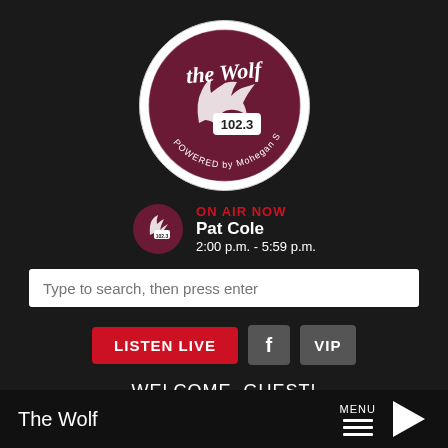[Figure (logo): The Wolf 102.3 radio station logo — circular badge with wolf silhouette, dark maroon background, white script text 'the Wolf', '102.3' badge, 'Powered by Mohegan Sun' arc text]
ON AIR NOW
Pat Cole
2:00 p.m. - 5:59 p.m.
Type to search, then press enter
LISTEN LIVE
f
VIP
WELCOME, GUEST!
➔ SIGN UP OR LOG IN
The Wolf   MENU ▶